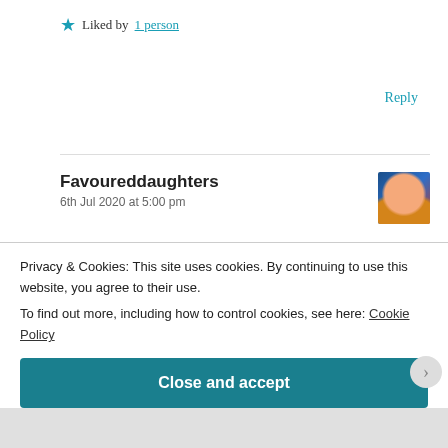★ Liked by 1 person
Reply
Favoureddaughters
6th Jul 2020 at 5:00 pm
Thanks Donna ❤ for reading. Rude people still exist 🙂, I like how you stated that God knows them more than we do. talking to God is the ultimate solution.
Privacy & Cookies: This site uses cookies. By continuing to use this website, you agree to their use.
To find out more, including how to control cookies, see here: Cookie Policy
Close and accept